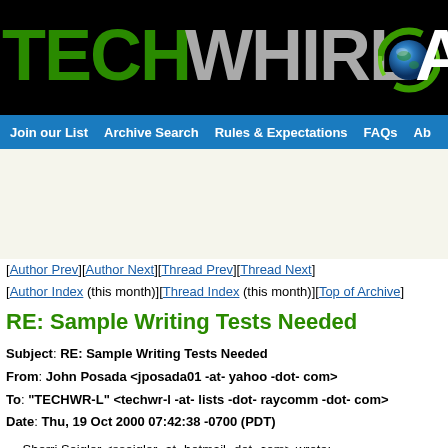[Figure (logo): TechWhirl Archive logo with green TECH text, gray WHIRL text, globe graphic, and white Arc text on black background]
Join our List   Archive Search   Rules & Expectations   FAQs   Ab
[Author Prev][Author Next][Thread Prev][Thread Next]
[Author Index (this month)][Thread Index (this month)][Top of Archive]
RE: Sample Writing Tests Needed
Subject: RE: Sample Writing Tests Needed
From: John Posada <jposada01 -at- yahoo -dot- com>
To: "TECHWR-L" <techwr-l -at- lists -dot- raycomm -dot- com>
Date: Thu, 19 Oct 2000 07:42:38 -0700 (PDT)
--- Sherri Seigler <sseigler -at- hotmail -dot- com> wrote:
> John, you are just so much better than the rest of us, I guess.
I doubt that. Better has nothing to do with it. There are a large number of writers with much more skill than me. I'd guess that there